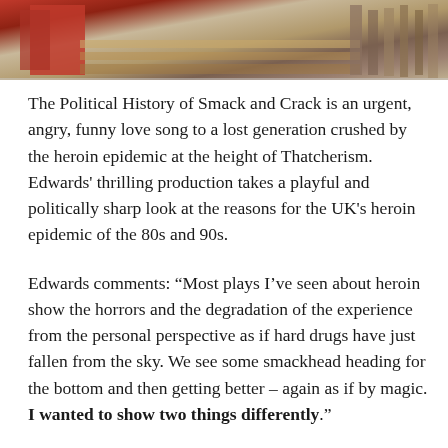[Figure (photo): Partial photo strip at top of page showing what appears to be a red object and wooden floor/structures, cropped at the bottom edge.]
The Political History of Smack and Crack is an urgent, angry, funny love song to a lost generation crushed by the heroin epidemic at the height of Thatcherism. Edwards' thrilling production takes a playful and politically sharp look at the reasons for the UK's heroin epidemic of the 80s and 90s.
Edwards comments: “Most plays I’ve seen about heroin show the horrors and the degradation of the experience from the personal perspective as if hard drugs have just fallen from the sky. We see some smackhead heading for the bottom and then getting better – again as if by magic. I wanted to show two things differently.”
“Firstly, that the smack – and in its wake crack – didn’t appear from nowhere: they appeared at a particular time for a